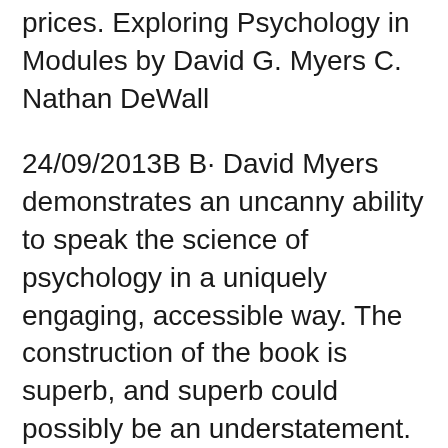prices. Exploring Psychology in Modules by David G. Myers C. Nathan DeWall
24/09/2013В В· David Myers demonstrates an uncanny ability to speak the science of psychology in a uniquely engaging, accessible way. The construction of the book is superb, and superb could possibly be an understatement. It is reasonably properly organized. When you happen to purchase the module model, itвЂ™s even better. Every little thing is broken up into subsections, and whenever youвЂ™re reviewing, the 14/11/2016В В· This module is version of MyersвЂ™ Psychology edition that categorizes the whole chapters of the